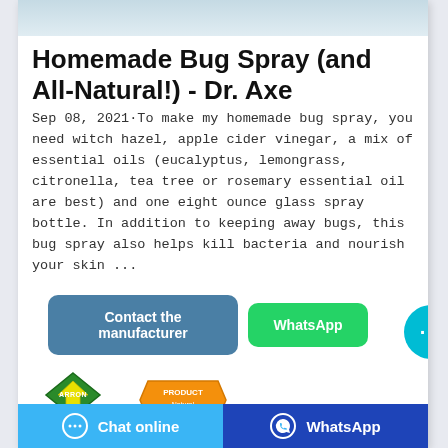[Figure (screenshot): Top portion of a product/article image showing a blue-grey surface, partially visible at the top of the card.]
Homemade Bug Spray (and All-Natural!) - Dr. Axe
Sep 08, 2021·To make my homemade bug spray, you need witch hazel, apple cider vinegar, a mix of essential oils (eucalyptus, lemongrass, citronella, tea tree or rosemary essential oil are best) and one eight ounce glass spray bottle. In addition to keeping away bugs, this bug spray also helps kill bacteria and nourish your skin ...
[Figure (other): Contact the manufacturer button (blue-grey rounded rectangle) and WhatsApp button (green rounded rectangle), with a cyan chat bubble icon on the right.]
[Figure (logo): Arrow brand logo (green diamond with arrow, text ARRON) and orange product logo at the bottom of the card.]
Chat online    WhatsApp